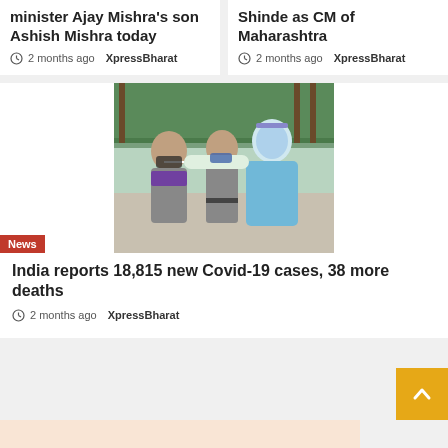minister Ajay Mishra's son Ashish Mishra today
2 months ago XpressBharat
Shinde as CM of Maharashtra
2 months ago XpressBharat
[Figure (photo): Healthcare worker in blue PPE suit and face shield performing nasal swab test on a woman wearing a mask, outdoors, with a police officer visible in background]
News
India reports 18,815 new Covid-19 cases, 38 more deaths
2 months ago XpressBharat